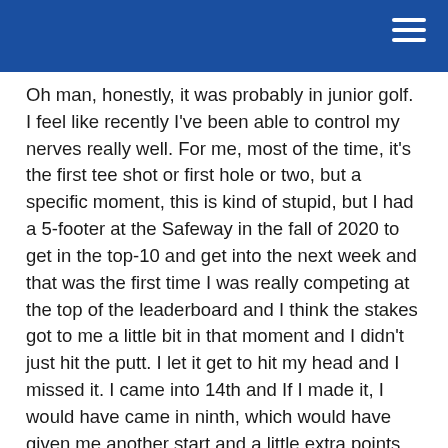Oh man, honestly, it was probably in junior golf. I feel like recently I've been able to control my nerves really well. For me, most of the time, it's the first tee shot or first hole or two, but a specific moment, this is kind of stupid, but I had a 5-footer at the Safeway in the fall of 2020 to get in the top-10 and get into the next week and that was the first time I was really competing at the top of the leaderboard and I think the stakes got to me a little bit in that moment and I didn't just hit the putt. I let it get to hit my head and I missed it. I came into 14th and If I made it, I would have came in ninth, which would have given me another start and a little extra points. But I was very nervous on that putt, and I just let the moment get to me. But it was also a great learning experience.
What are some of your favorite courses you've ever played and is there a course on your bucket list that you haven't played yet but want to?